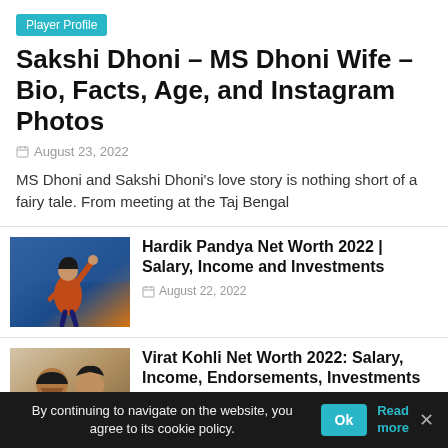Player Profile
Sakshi Dhoni – MS Dhoni Wife – Bio, Facts, Age, and Instagram Photos
August 23, 2022
MS Dhoni and Sakshi Dhoni's love story is nothing short of a fairy tale. From meeting at the Taj Bengal
[Figure (photo): Photo of Hardik Pandya raising his arm during a cricket match]
Hardik Pandya Net Worth 2022 | Salary, Income and Investments
August 22, 2022
[Figure (photo): Photo of Virat Kohli with a woman]
Virat Kohli Net Worth 2022: Salary, Income, Endorsements, Investments and Brand Value
By continuing to navigate on the website, you agree to its cookie policy.